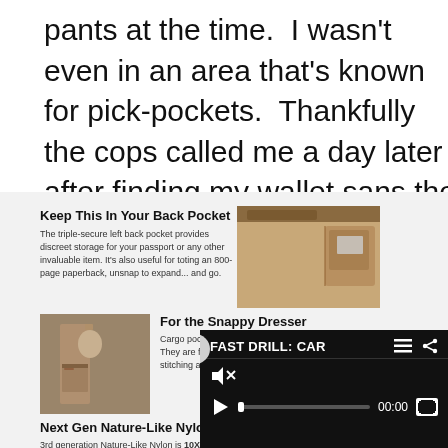pants at the time.  I wasn't even in an area that's known for pick-pockets.  Thankfully the cops called me a day later after finding my wallet sans the $50 Monopoly money (Canadian money is very colorful) and my free sub at Subway.
[Figure (screenshot): Advertisement panel with product sections: 'Keep This In Your Back Pocket', 'For the Snappy Dresser', 'Next Gen Nature-Like Ny...' with images of pants/pockets and a video overlay showing 'FAST DRILL: CAR' with playback controls at 00:00]